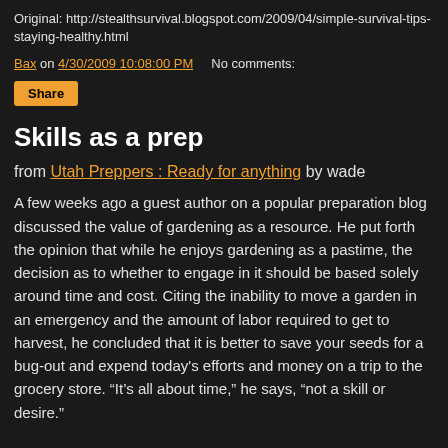Original: http://stealthsurvival.blogspot.com/2009/04/simple-survival-tips-staying-healthy.html
Bax on 4/30/2009 10:08:00 PM    No comments:
Share
Skills as a prep
from Utah Preppers : Ready for anything by wade
A few weeks ago a guest author on a popular preparation blog discussed the value of gardening as a resource. He put forth the opinion that while he enjoys gardening as a pastime, the decision as to whether to engage in it should be based solely around time and cost. Citing the inability to move a garden in an emergency and the amount of labor required to get to harvest, he concluded that it is better to save your seeds for a bug-out and expend today's efforts and money on a trip to the grocery store. “It’s all about time,” he says, “not a skill or desire.”